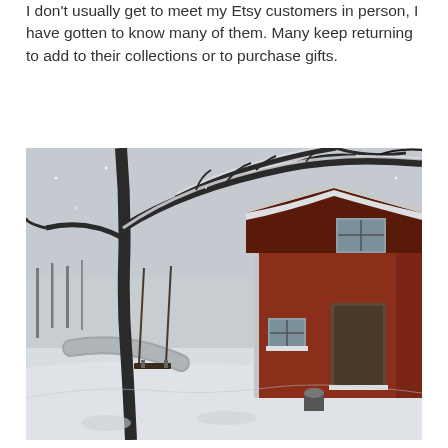I don't usually get to meet my Etsy customers in person, I have gotten to know many of them. Many keep returning to add to their collections or to purchase gifts.
[Figure (photo): A winter snow scene showing a red barn/house on the right side, a large bare tree with snow-covered branches in the foreground with a wooden swing hanging from it, a snow-covered yard, a road in the background, and overcast snowy sky.]